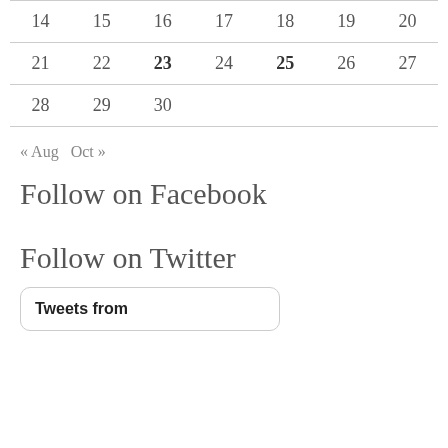| 14 | 15 | 16 | 17 | 18 | 19 | 20 |
| 21 | 22 | 23 | 24 | 25 | 26 | 27 |
| 28 | 29 | 30 |  |  |  |  |
« Aug   Oct »
Follow on Facebook
Follow on Twitter
Tweets from